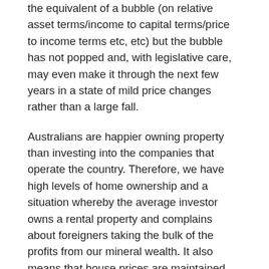the equivalent of a bubble (on relative asset terms/income to capital terms/price to income terms etc, etc) but the bubble has not popped and, with legislative care, may even make it through the next few years in a state of mild price changes rather than a large fall.
Australians are happier owning property than investing into the companies that operate the country. Therefore, we have high levels of home ownership and a situation whereby the average investor owns a rental property and complains about foreigners taking the bulk of the profits from our mineral wealth. It also means that house prices are maintained through a commonly held set of assumptions, which suggest that property operates outside of normal asset changes. There are dangerous commonly held myths about residential